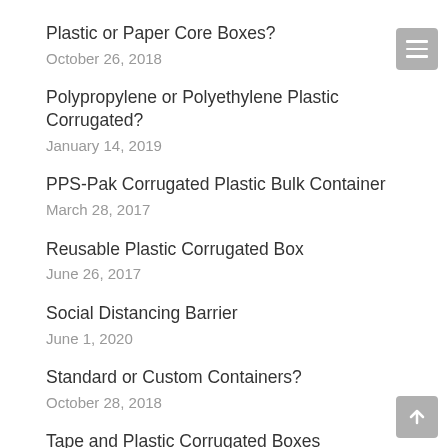Plastic or Paper Core Boxes?
October 26, 2018
Polypropylene or Polyethylene Plastic Corrugated?
January 14, 2019
PPS-Pak Corrugated Plastic Bulk Container
March 28, 2017
Reusable Plastic Corrugated Box
June 26, 2017
Social Distancing Barrier
June 1, 2020
Standard or Custom Containers?
October 28, 2018
Tape and Plastic Corrugated Boxes